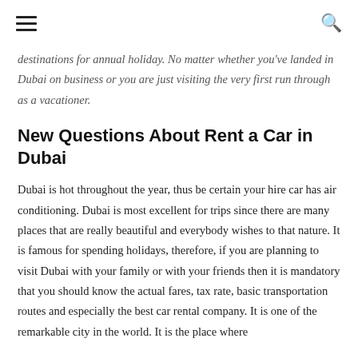≡  🔍
destinations for annual holiday. No matter whether you've landed in Dubai on business or you are just visiting the very first run through as a vacationer.
New Questions About Rent a Car in Dubai
Dubai is hot throughout the year, thus be certain your hire car has air conditioning. Dubai is most excellent for trips since there are many places that are really beautiful and everybody wishes to that nature. It is famous for spending holidays, therefore, if you are planning to visit Dubai with your family or with your friends then it is mandatory that you should know the actual fares, tax rate, basic transportation routes and especially the best car rental company. It is one of the remarkable city in the world. It is the place where